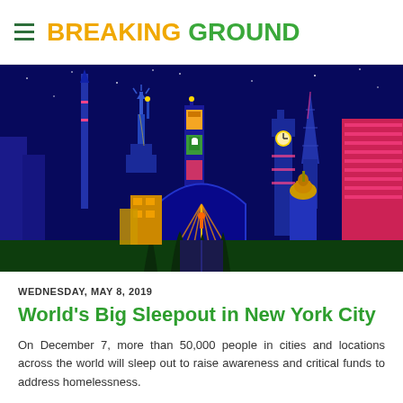BREAKING GROUND
[Figure (illustration): Colorful illustrated city skyline at night featuring world landmarks including Statue of Liberty, Big Ben, Eiffel Tower, and other buildings in blue, pink, red and yellow tones. A glowing figure stands center stage under spotlights.]
WEDNESDAY, MAY 8, 2019
World's Big Sleepout in New York City
On December 7, more than 50,000 people in cities and locations across the world will sleep out to raise awareness and critical funds to address homelessness.